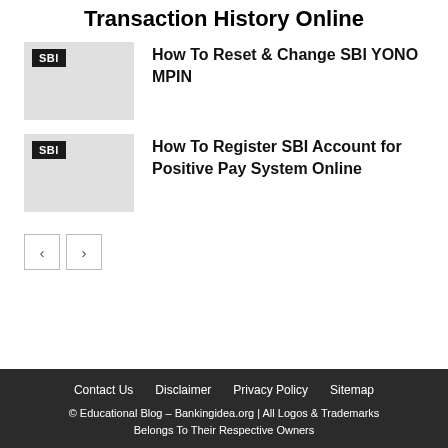Transaction History Online
[Figure (illustration): SBI badge thumbnail placeholder for article about resetting SBI YONO MPIN]
How To Reset & Change SBI YONO MPIN
[Figure (illustration): SBI badge thumbnail placeholder for article about registering SBI Account for Positive Pay System Online]
How To Register SBI Account for Positive Pay System Online
< >
Contact Us   Disclaimer   Privacy Policy   Sitemap
© Educational Blog – Bankingidea.org | All Logos & Trademarks Belongs To Their Respective Owners